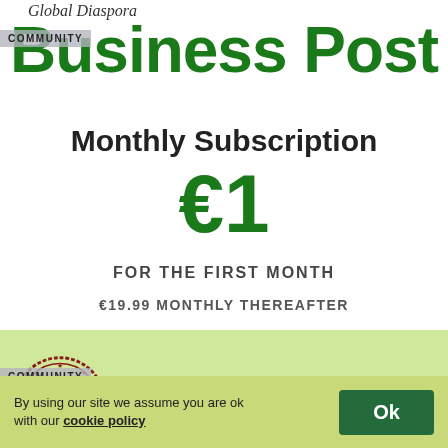Global Diaspora
Business Post
Monthly Subscription
€1
FOR THE FIRST MONTH
€19.99 MONTHLY THEREAFTER
Business Post Daily Online Subscription Offer
[Figure (illustration): Red circular stamp reading APPROVED / 101 MUST VISIT with stars and decorative border, overlaid with COMMUNITY badge]
By using our site we assume you are ok with our cookie policy